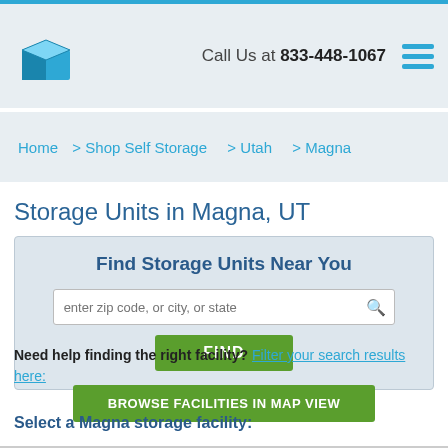Call Us at 833-448-1067
Home > Shop Self Storage > Utah > Magna
Storage Units in Magna, UT
Find Storage Units Near You
enter zip code, or city, or state
FIND
Need help finding the right facility? Filter your search results here:
BROWSE FACILITIES IN MAP VIEW
Select a Magna storage facility: